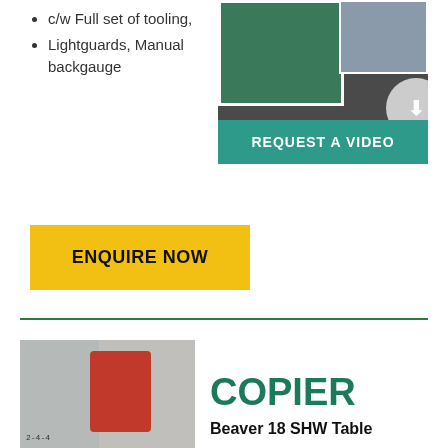c/w Full set of tooling,
Lightguards, Manual backgauge
[Figure (photo): Photo of industrial machinery with green door and machine close-up, with a 'REQUEST A VIDEO' teal button below and a download arrow circle]
[Figure (other): Yellow 'ENQUIRE NOW' button]
[Figure (photo): Photo of a red industrial copier/machine on scaffolding structure]
COPIER
Beaver 18 SHW Table